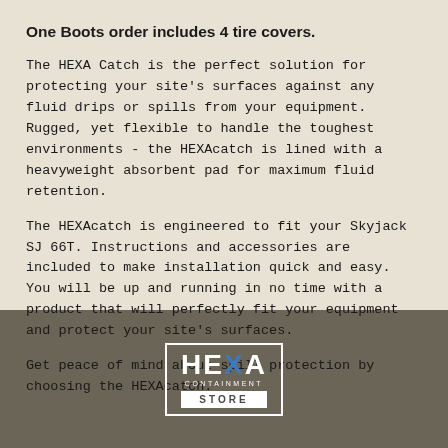One Boots order includes 4 tire covers.
The HEXA Catch is the perfect solution for protecting your site's surfaces against any fluid drips or spills from your equipment. Rugged, yet flexible to handle the toughest environments - the HEXAcatch is lined with a heavyweight absorbent pad for maximum fluid retention.
The HEXAcatch is engineered to fit your Skyjack SJ 66T. Instructions and accessories are included to make installation quick and easy. You will be up and running in no time with a product that will perfectly fit your equipment and protect your site's surfaces.
Get peace of mind about spill protection by choosing the HEXAcatch.
[Figure (logo): HEXA Containment Store logo — white outlined box with HEXA in bold white letters (X in blue), CONTAINMENT in small caps, STORE in white bar below]